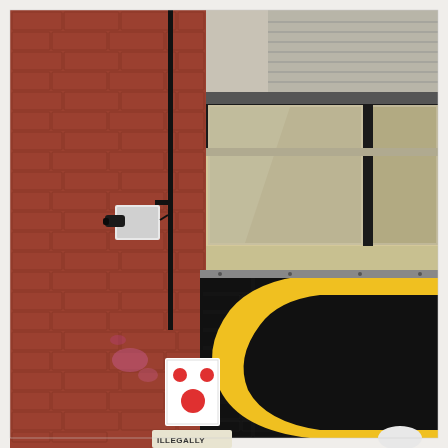[Figure (photo): Street photography showing the exterior of a building. On the left side, a red brick wall with a security camera mounted on a white bracket. The upper right shows a building facade with large industrial windows (metal roller shutter partially raised, glass panes with reflections). Below the windows is a black-painted brick wall with a street art mural: the text 'WITH LOVE' painted in blue letters, and a large yellow curved shape (partial letter or smiley face). On the lower left of the black wall is a white rectangular sign with two red dots (face-like pattern). At the very bottom left, a street sign partially visible reading 'ILLEGALLY'. The scene is an urban alleyway or side street setting.]